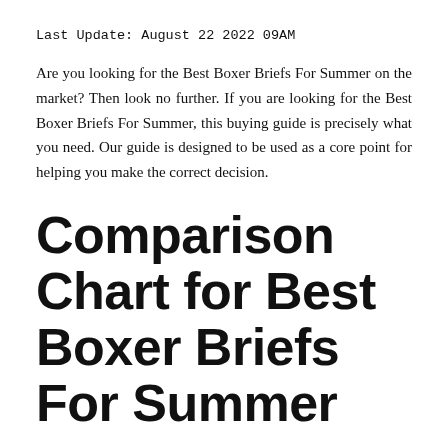Last Update: August 22 2022 09AM
Are you looking for the Best Boxer Briefs For Summer on the market? Then look no further. If you are looking for the Best Boxer Briefs For Summer, this buying guide is precisely what you need. Our guide is designed to be used as a core point for helping you make the correct decision.
Comparison Chart for Best Boxer Briefs For Summer
We've scanned 48783 reviews for you. If you are